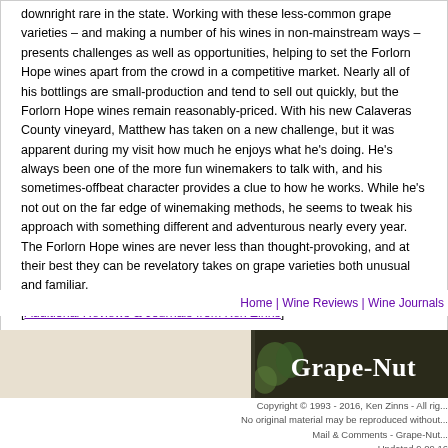downright rare in the state. Working with these less-common grape varieties – and making a number of his wines in non-mainstream ways – presents challenges as well as opportunities, helping to set the Forlorn Hope wines apart from the crowd in a competitive market. Nearly all of his bottlings are small-production and tend to sell out quickly, but the Forlorn Hope wines remain reasonably-priced. With his new Calaveras County vineyard, Matthew has taken on a new challenge, but it was apparent during my visit how much he enjoys what he's doing. He's always been one of the more fun winemakers to talk with, and his sometimes-offbeat character provides a clue to how he works. While he's not out on the far edge of winemaking methods, he seems to tweak his approach with something different and adventurous nearly every year. The Forlorn Hope wines are never less than thought-provoking, and at their best they can be revelatory takes on grape varieties both unusual and familiar.
[Additional Reviews & Journals from Ken Zinns]
Home | Wine Reviews | Wine Journals
[Figure (other): Grape-Nuts banner/logo image with dark background showing grape imagery and white text]
Copyright © 1993 - 2016, Ken Zinns - All rig... No original material may be reproduced without... Mail & Comments - Grape-Nut... Updated 9.09.16